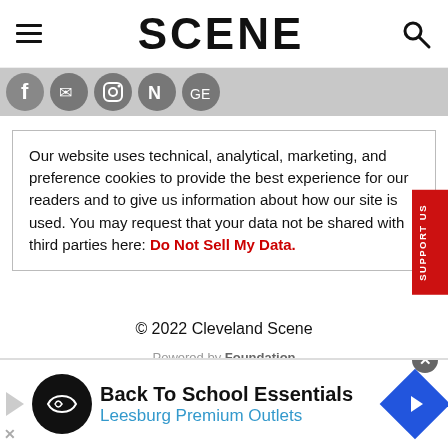SCENE
[Figure (illustration): Social media icon strip showing Facebook, Twitter/email, Instagram, and other sharing icons on a gray background]
Our website uses technical, analytical, marketing, and preference cookies to provide the best experience for our readers and to give us information about how our site is used. You may request that your data not be shared with third parties here: Do Not Sell My Data.
© 2022 Cleveland Scene
Powered by Foundation
[Figure (illustration): Advertisement banner: Back To School Essentials – Leesburg Premium Outlets, with circular logo and diamond arrow icon]